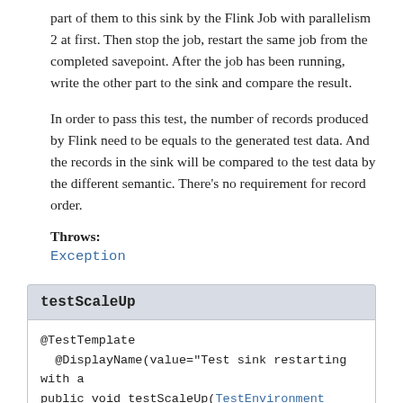part of them to this sink by the Flink Job with parallelism 2 at first. Then stop the job, restart the same job from the completed savepoint. After the job has been running, write the other part to the sink and compare the result.
In order to pass this test, the number of records produced by Flink need to be equals to the generated test data. And the records in the sink will be compared to the test data by the different semantic. There's no requirement for record order.
Throws:
Exception
testScaleUp
@TestTemplate
  @DisplayName(value="Test sink restarting with a
public void testScaleUp(TestEnvironment testEnv,